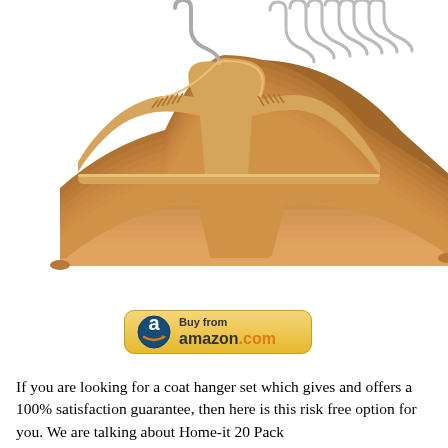[Figure (photo): A set of wooden coat hangers with metal hooks, showing one lighter natural wood hanger in the front and many darker walnut-finish hangers stacked behind it. The hangers have a horizontal bar at the bottom and notched shoulders.]
[Figure (logo): A 'Buy from amazon.com' button with a golden/yellow gradient background, rounded corners, the Amazon arrow logo on the left, and 'Buy from amazon.com' text on the right.]
If you are looking for a coat hanger set which gives and offers a 100% satisfaction guarantee, then here is this risk free option for you. We are talking about Home-it 20 Pack